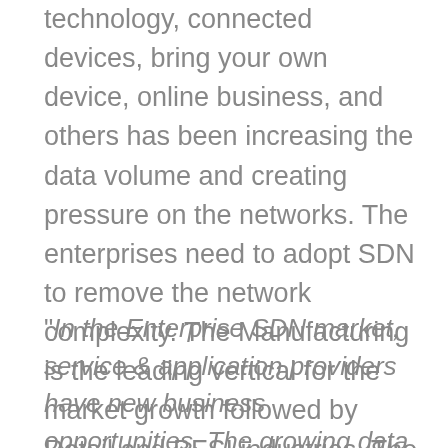technology, connected devices, bring your own device, online business, and others has been increasing the data volume and creating pressure on the networks. The enterprises need to adopt SDN to remove the network complexity. The Manufacturing is the leading vertical for the market growth followed by Retail and BFSI industries. The Manufacturing and Retail industries are together contributing more than 40% of the market share.
"In the Enterprise SDN market, service & application providers have new business opportunities. The growing data traffic volume will positively impact the SDN implementation in the enterprises sector." Bhawa H, Senior Research